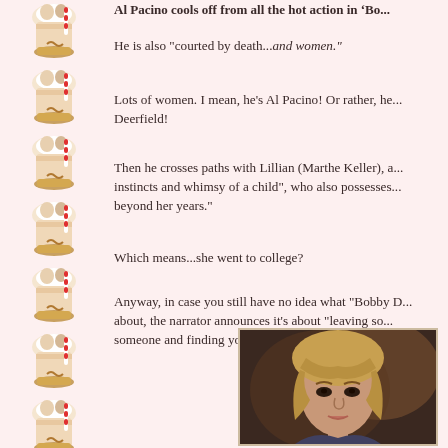Al Pacino cools off from all the hot action in 'Bo...
He is also "courted by death...and women."
Lots of women. I mean, he's Al Pacino! Or rather, he... Deerfield!
Then he crosses paths with Lillian (Marthe Keller), a... instincts and whimsy of a child", who also possesses... beyond her years."
Which means...she went to college?
Anyway, in case you still have no idea what "Bobby D... about, the narrator announces it's about "leaving so... someone and finding yourself."
[Figure (photo): Close-up photograph of a blonde woman looking at the camera]